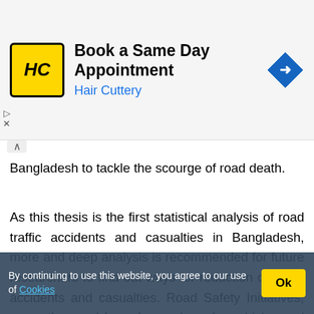[Figure (other): Advertisement banner for Hair Cuttery: 'Book a Same Day Appointment' with HC logo on yellow background and blue direction arrow icon]
Bangladesh to tackle the scourge of road death.
As this thesis is the first statistical analysis of road traffic accidents and casualties in Bangladesh, more and deep analysis is recommended for future researchers to find out ways for reduction of traffic accidents and casualties. Road Safety Initiatives, argue the need for safer roads, safer vehicles and safer people. The policy-makers may decide for reduction of traffic accidents and casualties following this thesis. Some proposed recommendations are as follows:
By continuing to use this website, you agree to our use of Cookies